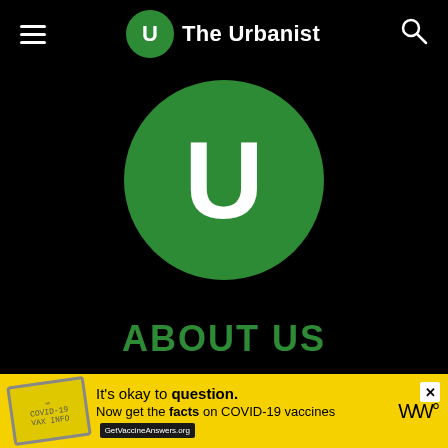The Urbanist
[Figure (logo): Large green circle with white letter U — The Urbanist logo]
ABOUT US
The Urbanist serves to examine and influence urban policies by promoting and disseminating ideas, creating community, and improving the places we live. Founded in 2014, the organization provides daily news coverage and opinion in the advocacy journalism tradition along with social and educational events. The Urbanist is based in Seattle and registered as a nonprofit 501(c)
[Figure (infographic): Yellow advertisement banner: It's okay to question. Now get the facts on COVID-19 vaccines — GetVaccineAnswers.org]